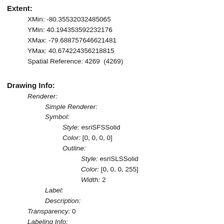Extent:
XMin: -80.35532032485065
YMin: 40.194353592232176
XMax: -79.688757646621481
YMax: 40.674224356218815
Spatial Reference: 4269  (4269)
Drawing Info:
Renderer:
  Simple Renderer:
  Symbol:
    Style: esriSFSSolid
    Color: [0, 0, 0, 0]
    Outline:
      Style: esriSLSSolid
      Color: [0, 0, 0, 255]
      Width: 2
  Label:
  Description:
Transparency: 0
Labeling Info:
Advanced Query Capabilities:
Supports Statistics: true